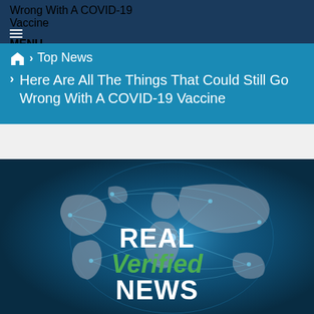≡ MENU
Wrong With A COVID-19 Vaccine
🏠 > Top News
> Here Are All The Things That Could Still Go Wrong With A COVID-19 Vaccine
[Figure (illustration): Globe illustration with network lines and continents, with 'REAL Verified NEWS' branding overlaid in white and green text]